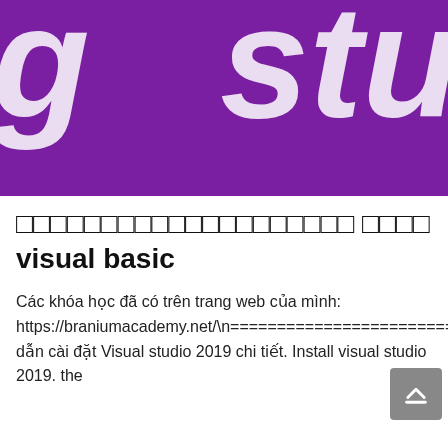[Figure (illustration): Purple banner background with large white italic letters 'g' on the left and 'stu' on the right, partially cropped]
□□□□□□□□□□□□□□□□□□□□ □□□□ visual basic
Các khóa học đã có trên trang web của mình: https://braniumacademy.net/\n================================================================================================\nHướng dẫn cài đặt Visual studio 2019 chi tiết. Install visual studio 2019. the